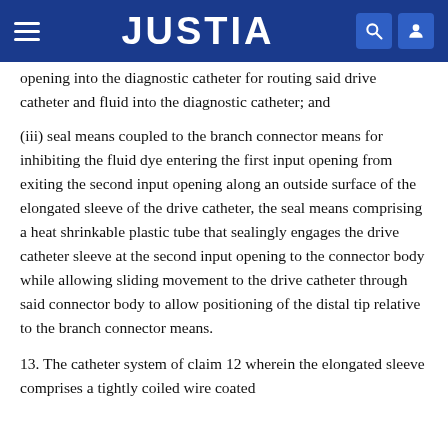JUSTIA
opening into the diagnostic catheter for routing said drive catheter and fluid into the diagnostic catheter; and
(iii) seal means coupled to the branch connector means for inhibiting the fluid dye entering the first input opening from exiting the second input opening along an outside surface of the elongated sleeve of the drive catheter, the seal means comprising a heat shrinkable plastic tube that sealingly engages the drive catheter sleeve at the second input opening to the connector body while allowing sliding movement to the drive catheter through said connector body to allow positioning of the distal tip relative to the branch connector means.
13. The catheter system of claim 12 wherein the elongated sleeve comprises a tightly coiled wire coated...